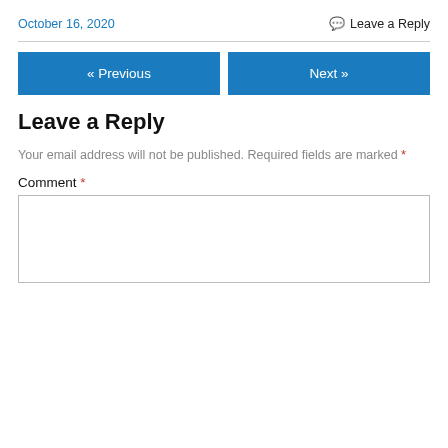October 16, 2020
Leave a Reply
« Previous
Next »
Leave a Reply
Your email address will not be published. Required fields are marked *
Comment *